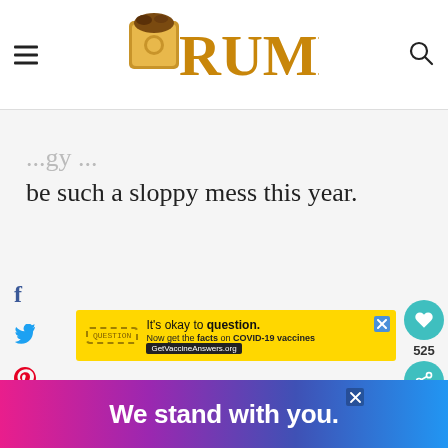CRUMB
be such a sloppy mess this year.
[Figure (infographic): Social media share icons: Facebook (f), Twitter bird, Pinterest (P), WhatsApp, Pocket]
[Figure (infographic): Yellow advertisement banner: It's okay to question. Now get the facts on COVID-19 vaccines. GetVaccineAnswers.org]
[Figure (infographic): Right-side action buttons: heart/like button (teal), count 525, share button (teal)]
[Figure (infographic): Bottom advertisement banner with pink-purple-blue gradient: We stand with you.]